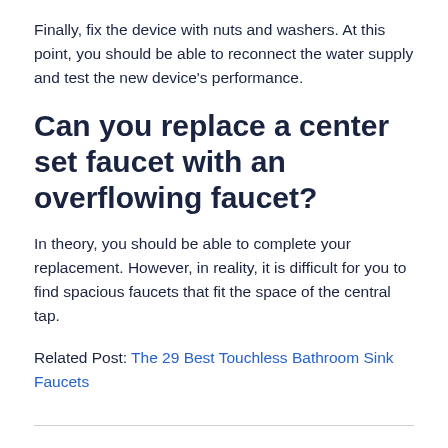Finally, fix the device with nuts and washers. At this point, you should be able to reconnect the water supply and test the new device's performance.
Can you replace a center set faucet with an overflowing faucet?
In theory, you should be able to complete your replacement. However, in reality, it is difficult for you to find spacious faucets that fit the space of the central tap.
Related Post: The 29 Best Touchless Bathroom Sink Faucets